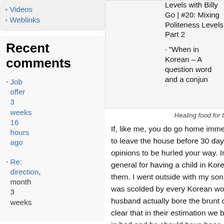Videos
Weblinks
Recent comments
Job offer 3 weeks 16 hours ago
Re: directions month 3 weeks
[Figure (photo): Image area showing healing food for new mama]
Healing food for the new mama.
If, like me, you do go home immediately after birth and choose to leave the house before 30 days, be prepared for some opinions to be hurled your way. In fact, that’s just good advice in general for having a child in Korea. Opinions; everyone has them. I went outside with my son when he was 5 days old and was scolded by every Korean woman we encountered. My husband actually bore the brunt of the scolding as it was very clear that in their estimation we both should have been at home in bed and he should have been making this happen. In retrospect, I don’t disagree. There’s an odd pride that I sometimes hear in
Levels with Billy Go | #20: Mixing Politeness Levels Part 2
“When in Korean – A question word and a conjunction